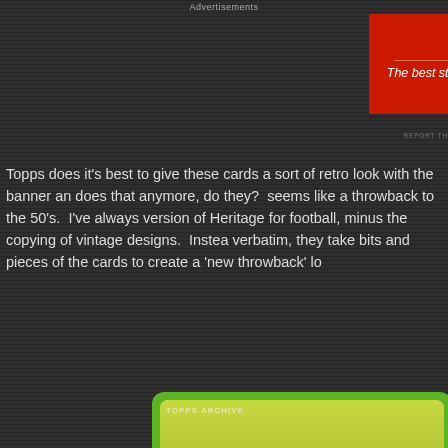Advertisements
[Figure (other): Longreads advertisement banner with red background, circular logo, and tagline: The best stories on the web – ours, and everyone else's.]
Topps does it's best to give these cards a sort of retro look with the banner an does that anymore, do they?  seems like a throwback to the 50's.  I've always version of Heritage for football, minus the copying of vintage designs.  Instea verbatim, they take bits and pieces of the cards to create a 'new throwback' lo
[Figure (photo): Close-up photograph of a football player wearing a helmet, shown on a trading card with green border and retro styling.]
Advertisements
[Figure (other): DuckDuckGo advertisement with orange background. Text: Search, browse, and email with more privacy. All in One Free App. Shows DuckDuckGo logo and phone mockup.]